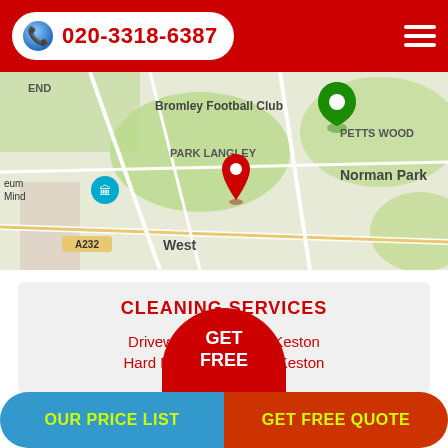020-3318-6387
[Figure (map): Google Maps view showing Bromley area including Bromley Football Club, Norman Park, Park Langley, Petts Wood, and West labels; green location pin and red location pin visible]
CLEANING SERVICES
Driveway Cleaning in Keston
Hard Floor Cleaning in Keston
GET FREE
OUR PRICE LIST
GET FREE QUOTE